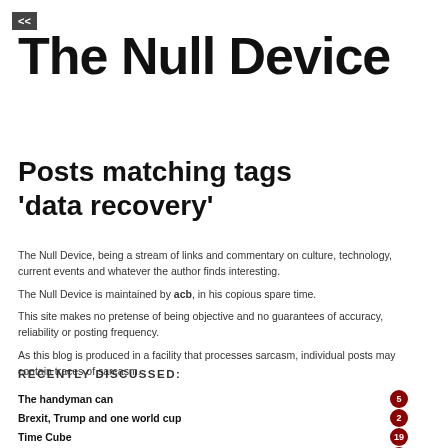<<
The Null Device
Posts matching tags 'data recovery'
The Null Device, being a stream of links and commentary on culture, technology, current events and whatever the author finds interesting.
The Null Device is maintained by acb, in his copious spare time.
This site makes no pretense of being objective and no guarantees of accuracy, reliability or posting frequency.
As this blog is produced in a facility that processes sarcasm, individual posts may contain traces of sarcasm.
RECENTLY DISCUSSED:
The handyman can
Brexit, Trump and one world cup
Time Cube
Punk masonry
The People's Prince